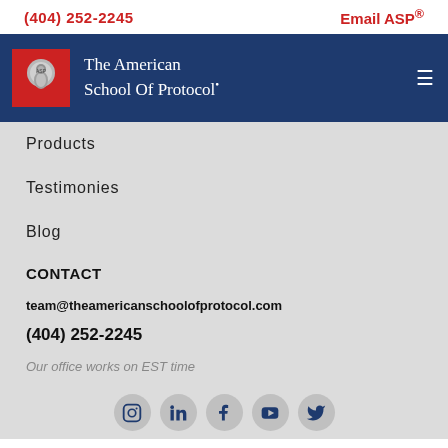(404) 252-2245    Email ASP®
The American School Of Protocol•
Products
Testimonies
Blog
CONTACT
team@theamericanschoolofprotocol.com
(404) 252-2245
Our office works on EST time
[Figure (illustration): Social media icons row: Instagram, LinkedIn, Facebook, YouTube, Twitter]